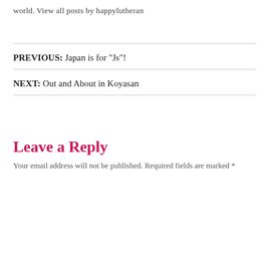world. View all posts by happylutheran
PREVIOUS: Japan is for "Js"!
NEXT: Out and About in Koyasan
Leave a Reply
Your email address will not be published. Required fields are marked *